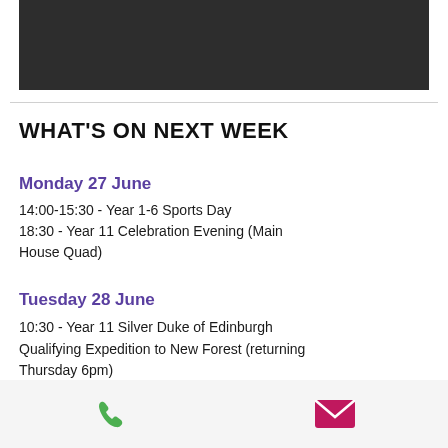[Figure (photo): Dark banner image at top of page]
WHAT'S ON NEXT WEEK
Monday 27 June
14:00-15:30  -  Year 1-6 Sports Day
18:30  -  Year 11 Celebration Evening (Main House Quad)
Tuesday 28 June
10:30  -  Year 11 Silver Duke of Edinburgh Qualifying Expedition to New Forest (returning Thursday 6pm)
14:00  -  Years 7-10 Sports Day
17:30  -  Year 10 Tutor Parent Evening on Teams
[Figure (infographic): Footer bar with phone and email icons]